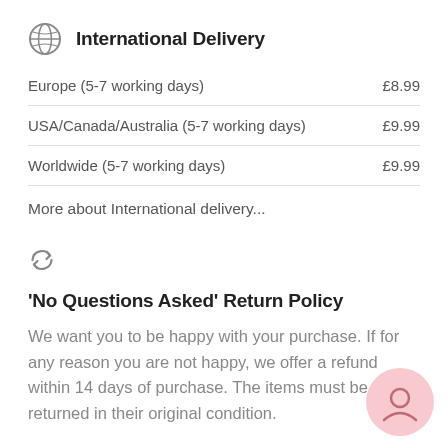International Delivery
| Destination | Price |
| --- | --- |
| Europe (5-7 working days) | £8.99 |
| USA/Canada/Australia (5-7 working days) | £9.99 |
| Worldwide (5-7 working days) | £9.99 |
More about International delivery...
'No Questions Asked' Return Policy
We want you to be happy with your purchase. If for any reason you are not happy, we offer a refund within 14 days of purchase. The items must be returned in their original condition.
Click here to find out more about our refund policy